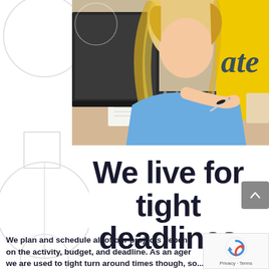[Figure (photo): Blonde female student in blue shirt writing in a notebook at a desk, with a laptop open in front of her and a yellow banner partially visible in the background]
We live for tight deadlines
We plan and schedule all of our projects depending on the activity, budget, and deadline. As an agency, we are used to tight turnaround times though, so...